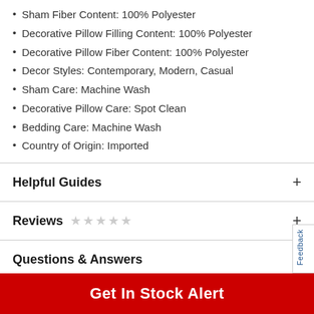Sham Fiber Content: 100% Polyester
Decorative Pillow Filling Content: 100% Polyester
Decorative Pillow Fiber Content: 100% Polyester
Decor Styles: Contemporary, Modern, Casual
Sham Care: Machine Wash
Decorative Pillow Care: Spot Clean
Bedding Care: Machine Wash
Country of Origin: Imported
Helpful Guides
Reviews
Questions & Answers
Shipping & Returns
Get In Stock Alert